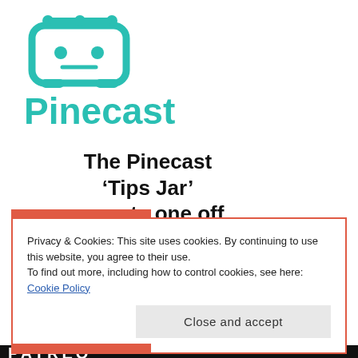[Figure (logo): Pinecast logo: teal robot/monitor icon above the word Pinecast in teal bold font]
The Pinecast ‘Tips Jar’ accepts one off or regular contributions
Privacy & Cookies: This site uses cookies. By continuing to use this website, you agree to their use.
To find out more, including how to control cookies, see here: Cookie Policy
Close and accept
PATREO...